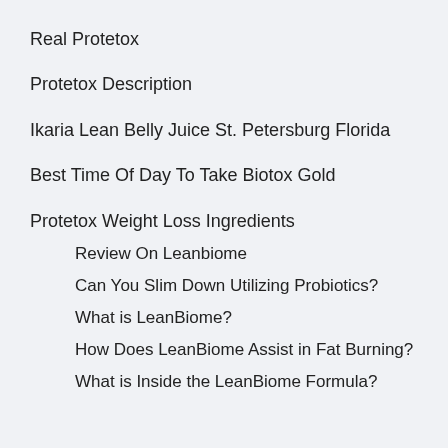Real Protetox
Protetox Description
Ikaria Lean Belly Juice St. Petersburg Florida
Best Time Of Day To Take Biotox Gold
Protetox Weight Loss Ingredients
Review On Leanbiome
Can You Slim Down Utilizing Probiotics?
What is LeanBiome?
How Does LeanBiome Assist in Fat Burning?
What is Inside the LeanBiome Formula?